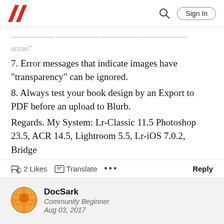Adobe logo | Search | Sign In
areas"
7. Error messages that indicate images have "transparency" can be ignored.
8. Always test your book design by an Export to PDF before an upload to Blurb.
Regards. My System: Lr-Classic 11.5 Photoshop 23.5, ACR 14.5, Lightroom 5.5, Lr-iOS 7.0.2, Bridge
2 Likes  Translate  ...  Reply
DocSark
Community Beginner
Aug 03, 2017
I have been a CC member since its onset and